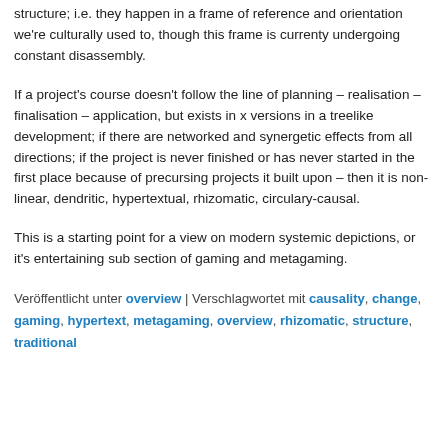structure; i.e. they happen in a frame of reference and orientation we're culturally used to, though this frame is currenty undergoing constant disassembly.
If a project's course doesn't follow the line of planning – realisation – finalisation – application, but exists in x versions in a treelike development; if there are networked and synergetic effects from all directions; if the project is never finished or has never started in the first place because of precursing projects it built upon – then it is non-linear, dendritic, hypertextual, rhizomatic, circulary-causal.
This is a starting point for a view on modern systemic depictions, or it's entertaining sub section of gaming and metagaming.
Veröffentlicht unter overview | Verschlagwortet mit causality, change, gaming, hypertext, metagaming, overview, rhizomatic, structure, traditional